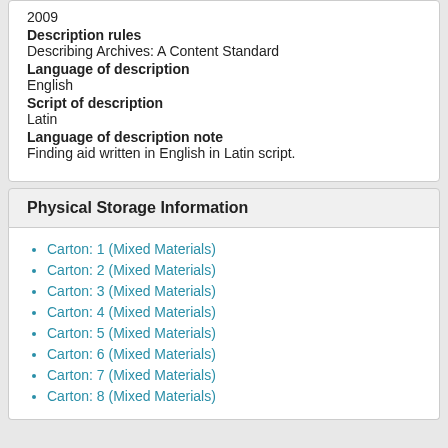2009
Description rules
Describing Archives: A Content Standard
Language of description
English
Script of description
Latin
Language of description note
Finding aid written in English in Latin script.
Physical Storage Information
Carton: 1 (Mixed Materials)
Carton: 2 (Mixed Materials)
Carton: 3 (Mixed Materials)
Carton: 4 (Mixed Materials)
Carton: 5 (Mixed Materials)
Carton: 6 (Mixed Materials)
Carton: 7 (Mixed Materials)
Carton: 8 (Mixed Materials)